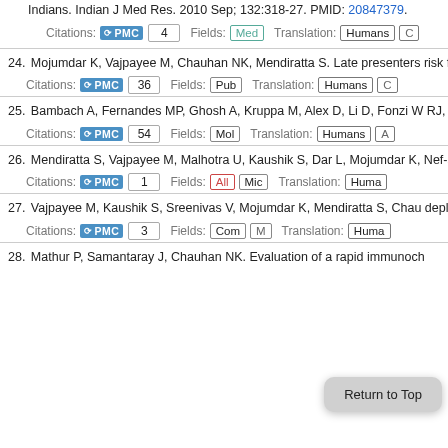Indians. Indian J Med Res. 2010 Sep; 132:318-27. PMID: 20847379.
Citations: PMC 4   Fields: Med   Translation: Humans C
24. Mojumdar K, Vajpayee M, Chauhan NK, Mendiratta S. Late presenters risk factors in HIV-1 infected Indian population. BMC Public Health. 201
Citations: PMC 36   Fields: Pub   Translation: Humans C
25. Bambach A, Fernandes MP, Ghosh A, Kruppa M, Alex D, Li D, Fonzi W RJ, Calderone R. Goa1p of Candida albicans localizes to the mitochon function and virulence. Eukaryot Cell. 2009 Nov; 8(11):1706-20. PMID:
Citations: PMC 54   Fields: Mol   Translation: Humans A
26. Mendiratta S, Vajpayee M, Malhotra U, Kaushik S, Dar L, Mojumdar K, Nef-specific ELISpot-based CTL responses in HIV-1 infected Indian inc 56. PMID: 18985383.
Citations: PMC 1   Fields: All Mic   Translation: Huma
27. Vajpayee M, Kaushik S, Sreenivas V, Mojumdar K, Mendiratta S, Chau depletion in HIV-1 infected Indian patients. Eur Clin Microbiol Infect D
Citations: PMC 3   Fields: Com M   Translation: Huma
28. Mathur P, Samantaray J, Chauhan NK. Evaluation of a rapid immunoch